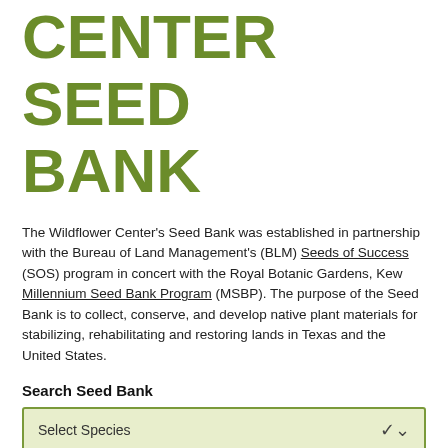CENTER SEED BANK
The Wildflower Center's Seed Bank was established in partnership with the Bureau of Land Management's (BLM) Seeds of Success (SOS) program in concert with the Royal Botanic Gardens, Kew Millennium Seed Bank Program (MSBP). The purpose of the Seed Bank is to collect, conserve, and develop native plant materials for stabilizing, rehabilitating and restoring lands in Texas and the United States.
Search Seed Bank
Select Species
go